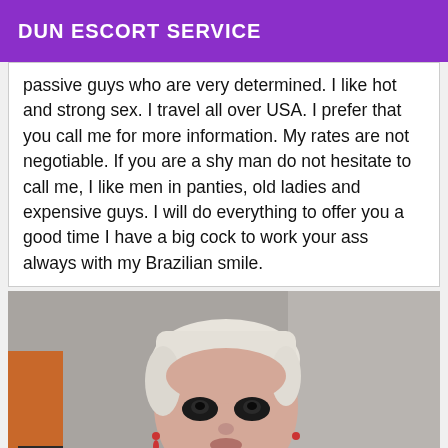DUN ESCORT SERVICE
passive guys who are very determined. I like hot and strong sex. I travel all over USA. I prefer that you call me for more information. My rates are not negotiable. If you are a shy man do not hesitate to call me, I like men in panties, old ladies and expensive guys. I will do everything to offer you a good time I have a big cock to work your ass always with my Brazilian smile.
[Figure (photo): Portrait photo of a person with short blonde/white hair wearing dark eye makeup and earrings, photographed indoors against a grey wall with an orange element visible on the left side.]